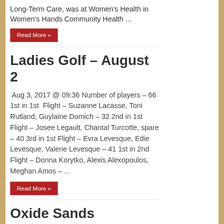Long-Term Care, was at Women's Health in Women's Hands Community Health ...
Read More »
Ladies Golf – August 2
Aug 3, 2017 @ 09:36 Number of players – 66 1st in 1st Flight – Suzanne Lacasse, Toni Rutland, Guylaine Domich – 32 2nd in 1st Flight – Josee Legault, Chantal Turcotte, spare – 40 3rd in 1st Flight – Evra Levesque, Edie Levesque, Valerie Levesque – 41 1st in 2nd Flight – Donna Korytko, Alexis Alexopoulos, Meghan Amos – ...
Read More »
Oxide Sands extended 500m